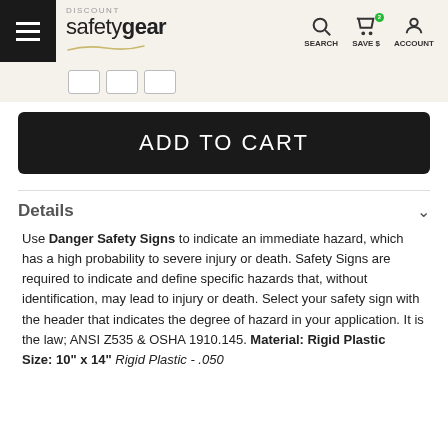DISCOUNT safetygear | SEARCH | SAVE $ | ACCOUNT
ADD TO CART
Details
Use Danger Safety Signs to indicate an immediate hazard, which has a high probability to severe injury or death. Safety Signs are required to indicate and define specific hazards that, without identification, may lead to injury or death. Select your safety sign with the header that indicates the degree of hazard in your application. It is the law; ANSI Z535 & OSHA 1910.145. Material: Rigid Plastic
Size: 10" x 14" Rigid Plastic - .050